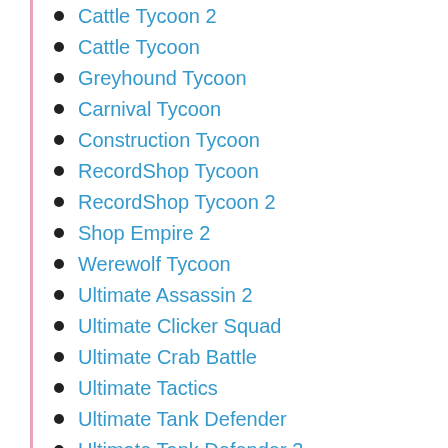Cattle Tycoon 2
Cattle Tycoon
Greyhound Tycoon
Carnival Tycoon
Construction Tycoon
RecordShop Tycoon
RecordShop Tycoon 2
Shop Empire 2
Werewolf Tycoon
Ultimate Assassin 2
Ultimate Clicker Squad
Ultimate Crab Battle
Ultimate Tactics
Ultimate Tank Defender
Ultimate Tank Defender 3
Ultimate War
Ultimate War Hacked
Undead End Hardcore